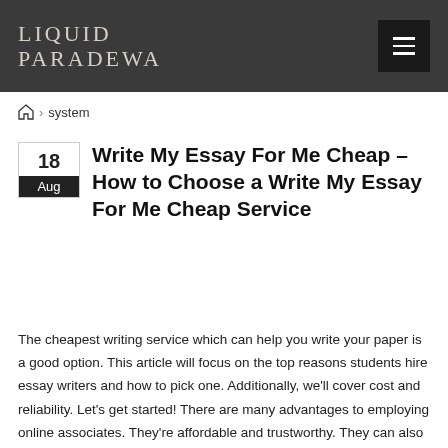LIQUID PARADEWA
🏠 › system
Write My Essay For Me Cheap – How to Choose a Write My Essay For Me Cheap Service
The cheapest writing service which can help you write your paper is a good option. This article will focus on the top reasons students hire essay writers and how to pick one. Additionally, we'll cover cost and reliability. Let's get started! There are many advantages to employing online associates. They're affordable and trustworthy. They can also